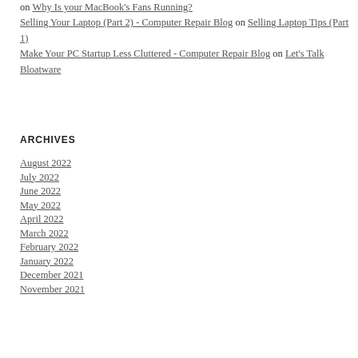on Why Is your MacBook's Fans Running?
Selling Your Laptop (Part 2) - Computer Repair Blog on Selling Laptop Tips (Part 1)
Make Your PC Startup Less Cluttered - Computer Repair Blog on Let's Talk Bloatware
ARCHIVES
August 2022
July 2022
June 2022
May 2022
April 2022
March 2022
February 2022
January 2022
December 2021
November 2021